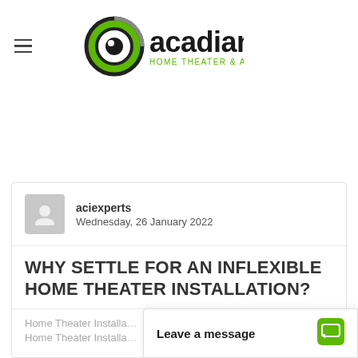[Figure (logo): Acadian Home Theater & Automation logo with green circular eye icon and text]
aciexperts
Wednesday, 26 January 2022
WHY SETTLE FOR AN INFLEXIBLE HOME THEATER INSTALLATION?
Home Theater Installa
Home Theater Installa
Leave a message